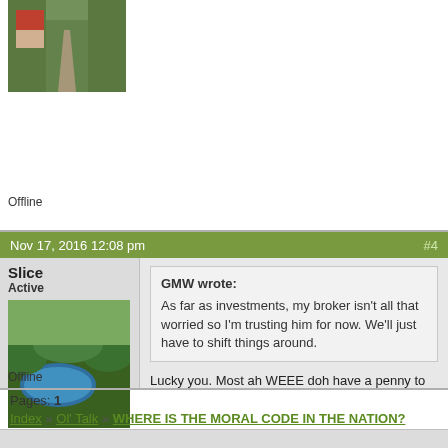[Figure (photo): Photo of a road through tropical forest with a red-roofed structure visible]
Offline
Nov 17, 2016 12:08 pm  #4
Slice
Active
[Figure (photo): Aerial photo of a volcanic crater lake surrounded by lush green forest]
GMW wrote:
As far as investments, my broker isn't all that worried so I'm trusting him for now. We'll just have to shift things around.
Lucky you.  Most ah WEEE doh have a penny to invest.  Sheet ah wanted to post something ah read just yesterday.  This economist say, nothing go change with trump, as far as investment goes.  He did say at the end of four year term, his backers will be so disappointed with him, they might not want to see him again ever and ever Amen.
Offline
Pages: 1
Index » Ol' Talk » WHERE IS THE MORAL CODE IN THE NATION?